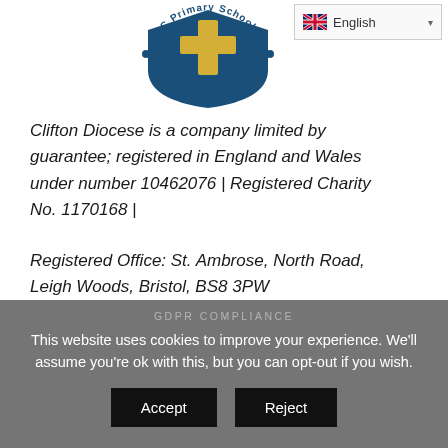[Figure (logo): RC Primary School shield logo with gold cross on blue shield, circular text reading 'RC Primary School', dots around the arc]
Clifton Diocese is a company limited by guarantee; registered in England and Wales under number 10462076 | Registered Charity No. 1170168 |
Registered Office: St. Ambrose, North Road, Leigh Woods, Bristol, BS8 3PW
GDPR COMPLIANCE
This website uses cookies to improve your experience. We'll assume you're ok with this, but you can opt-out if you wish.